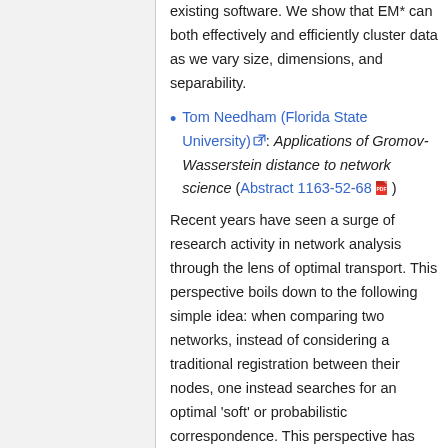existing software. We show that EM* can both effectively and efficiently cluster data as we vary size, dimensions, and separability.
Tom Needham (Florida State University): Applications of Gromov-Wasserstein distance to network science (Abstract 1163-52-68)
Recent years have seen a surge of research activity in network analysis through the lens of optimal transport. This perspective boils down to the following simple idea: when comparing two networks, instead of considering a traditional registration between their nodes, one instead searches for an optimal 'soft' or probabilistic correspondence. This perspective has led to state-of-the-art